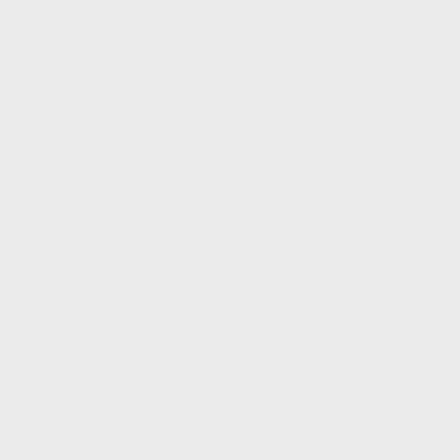ex=10|title=Brass Ingot|image=Brass_ingot.png|link=Brass Ingot}}{{Inventory/Slot|index=20|title=Brass Ingot|image=Brass_ingot.png|link=Brass Ingot}}{{Inventory/Slot|index=18|title=Brass Ingot|image=Brass_in